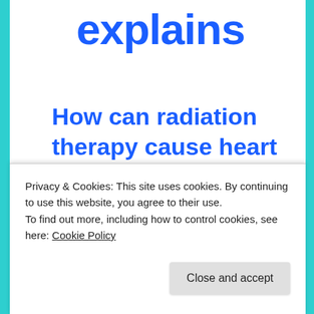explains
How can radiation therapy cause heart disease?
Jul 31st 2013, 23:50 by G.F. | SEATTLE
[Figure (illustration): 3D illustration of a radiation therapy machine (linear accelerator) with green beam targeting, metallic cylindrical components visible from above]
Privacy & Cookies: This site uses cookies. By continuing to use this website, you agree to their use.
To find out more, including how to control cookies, see here: Cookie Policy
Close and accept